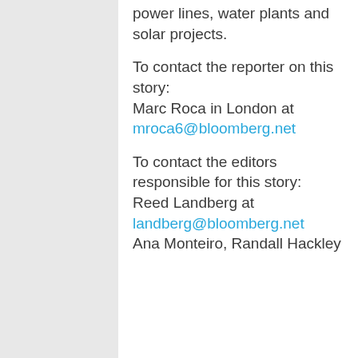power lines, water plants and solar projects.
To contact the reporter on this story:
Marc Roca in London at
mroca6@bloomberg.net
To contact the editors responsible for this story:
Reed Landberg at
landberg@bloomberg.net
Ana Monteiro, Randall Hackley